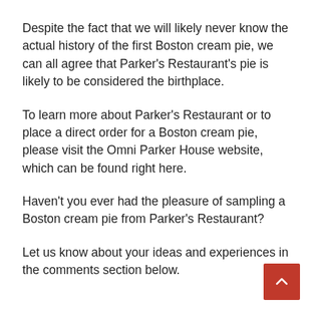Despite the fact that we will likely never know the actual history of the first Boston cream pie, we can all agree that Parker’s Restaurant’s pie is likely to be considered the birthplace.
To learn more about Parker’s Restaurant or to place a direct order for a Boston cream pie, please visit the Omni Parker House website, which can be found right here.
Haven’t you ever had the pleasure of sampling a Boston cream pie from Parker’s Restaurant?
Let us know about your ideas and experiences in the comments section below.